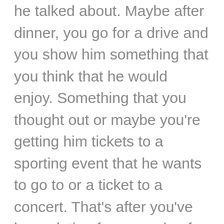he talked about. Maybe after dinner, you go for a drive and you show him something that you think that he would enjoy. Something that you thought out or maybe you're getting him tickets to a sporting event that he wants to go to or a ticket to a concert. That's after you've been dating for a couple of weeks. I don't recommend giving gifts, but the surprises are always appreciated. Everybody loves a surprise because it means you put a lot of thought into doing something special for him. That's how you continue to create an emotional connection, which leads to a commitment.